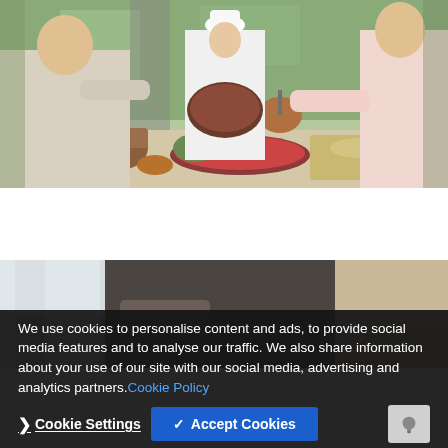[Figure (photo): A chef in white uniform showing a dish to two guests at a buffet table laden with various food dishes and clay pots in a restaurant setting.]
[Figure (photo): Partial view of a hotel or restaurant interior room, showing curtains and seating area.]
We use cookies to personalise content and ads, to provide social media features and to analyse our traffic. We also share information about your use of our site with our social media, advertising and analytics partners. Cookie Policy
❯ Cookie Settings
✓ Accept Cookies